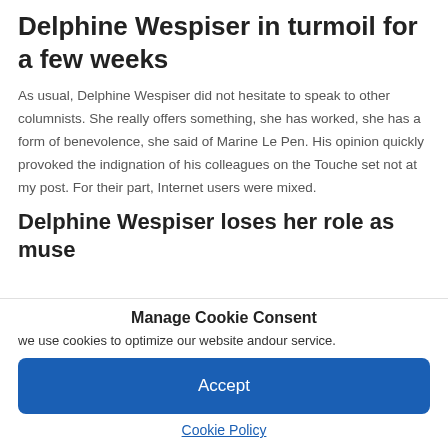Delphine Wespiser in turmoil for a few weeks
As usual, Delphine Wespiser did not hesitate to speak to other columnists. She really offers something, she has worked, she has a form of benevolence, she said of Marine Le Pen. His opinion quickly provoked the indignation of his colleagues on the Touche set not at my post. For their part, Internet users were mixed.
Delphine Wespiser loses her role as muse
Manage Cookie Consent
we use cookies to optimize our website andour service.
Accept
Cookie Policy